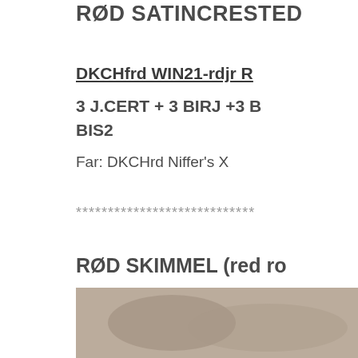RØD SATINCRESTED
DKCHfrd WIN21-rdjr R
3 J.CERT + 3 BIRJ +3 BIS2
Far:   DKCHrd Niffer's X
****************************
RØD SKIMMEL  (red ro
DKCHfpb BOB-17  Niff
4 J.CERT + 4 BOBj + B Årets Nonself AOV 201
Far:  DKCHpb Niffer's A
[Figure (photo): Partial photo of a rabbit, showing fur texture, at the bottom right of the page]